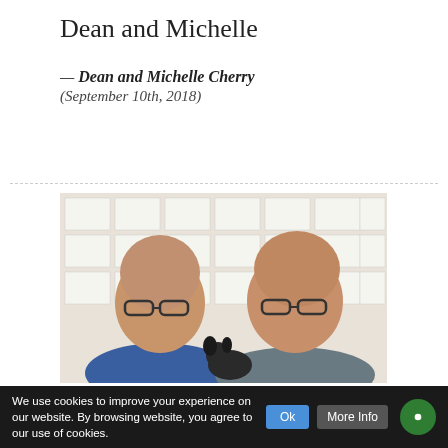Dean and Michelle
— Dean and Michelle Cherry
(September 10th, 2018)
[Figure (photo): Two bald people wearing glasses smiling at the camera inside a real estate agency office, with property listings displayed on the wall behind them. One person on the left wears a blue sleeveless shirt, one on the right wears a grey t-shirt. A small black dog is being held between them.]
We use cookies to improve your experience on our website. By browsing website, you agree to our use of cookies.